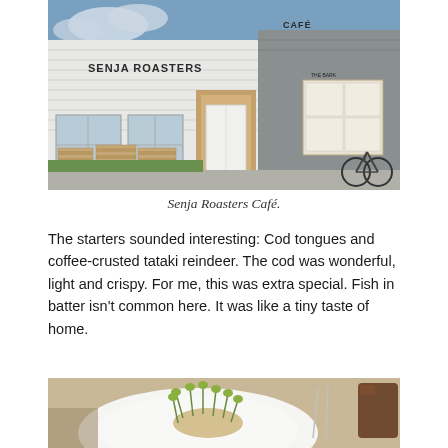[Figure (photo): Exterior photo of Senja Roasters Café building, a white/grey structure with signage reading SENJA ROASTERS and CAFÉ. Wooden pallets are arranged outside as seating, and a bicycle is parked on the right side.]
Senja Roasters Café.
The starters sounded interesting: Cod tongues and coffee-crusted tataki reindeer. The cod was wonderful, light and crispy. For me, this was extra special. Fish in batter isn't common here. It was like a tiny taste of home.
[Figure (photo): Close-up photo of a white plate with a food dish garnished with bean sprouts/microgreens, partially visible with cutlery and a dark drink in the background.]